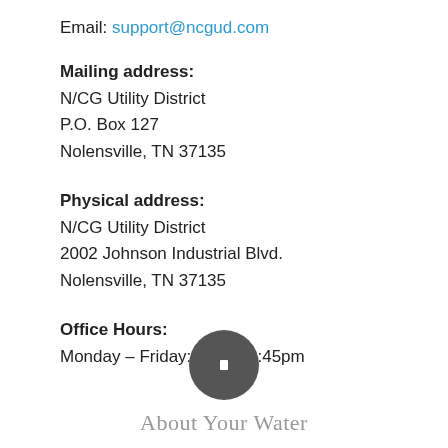Email: support@ncgud.com
Mailing address:
N/CG Utility District
P.O. Box 127
Nolensville, TN 37135
Physical address:
N/CG Utility District
2002 Johnson Industrial Blvd.
Nolensville, TN 37135
Office Hours:
Monday – Friday: 8am – 3:45pm
[Figure (illustration): Dark circular icon with a small white square/rectangle symbol in the center]
About Your Water